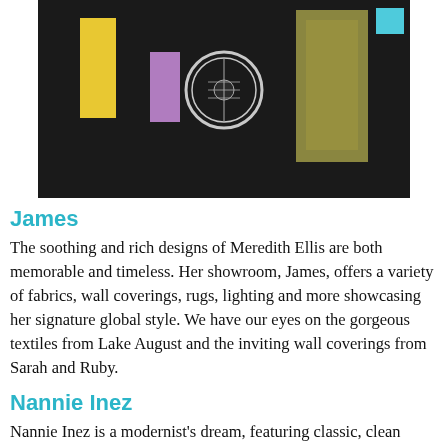[Figure (illustration): Abstract decorative image on black background featuring colorful geometric shapes: a yellow rectangle, a purple rectangle, a circular guitar emblem, a golden/olive decorative panel, and a teal/cyan square.]
James
The soothing and rich designs of Meredith Ellis are both memorable and timeless. Her showroom, James, offers a variety of fabrics, wall coverings, rugs, lighting and more showcasing her signature global style. We have our eyes on the gorgeous textiles from Lake August and the inviting wall coverings from Sarah and Ruby.
Nannie Inez
Nannie Inez is a modernist's dream, featuring classic, clean designs from Hay, Franco Albini, and many more. We love the selection of chic coffee table books on Japanese design, and the newest rug arrivals have us ready to toss our